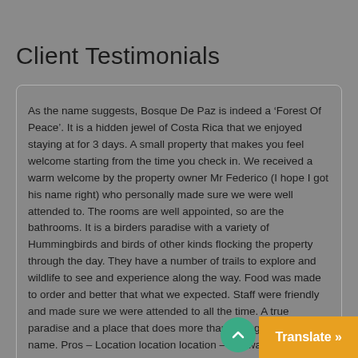Client Testimonials
As the name suggests, Bosque De Paz is indeed a ‘Forest Of Peace’. It is a hidden jewel of Costa Rica that we enjoyed staying at for 3 days. A small property that makes you feel welcome starting from the time you check in. We received a warm welcome by the property owner Mr Federico (I hope I got his name right) who personally made sure we were well attended to. The rooms are well appointed, so are the bathrooms. It is a birders paradise with a variety of Hummingbirds and birds of other kinds flocking the property through the day. They have a number of trails to explore and wildlife to see and experience along the way. Food was made to order and better that what we expected. Staff were friendly and made sure we were attended to all the time. A true paradise and a place that does more than enough justice to it name. Pros - Location location location - Birdwatching - Hiking - Food Cons - Can’t thin